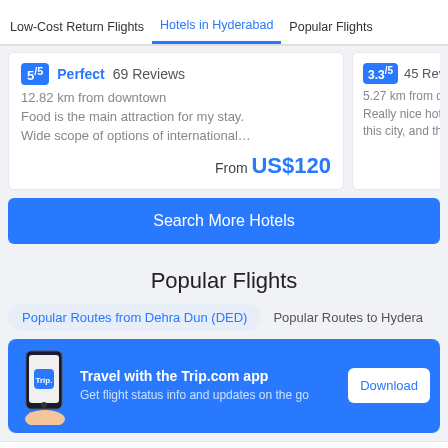Low-Cost Return Flights | Hotels in Hyderabad | Popular Flights
5/5  Perfect  69 Reviews
12.82 km from downtown
Food is the main attraction for my stay. Wide scope of options of international…
From US$120
3.3/5  45 Reviews
5.27 km from downtown
Really nice hotel, this city, and the pric…
Search More Hotels
Popular Flights
Popular Routes from Dehra Dun (DED)
Popular Routes to Hydera…
Travel with the Trip.com app
Get flight status info and updates on the go
Download
Flights from Dehra Dun to Jaipur